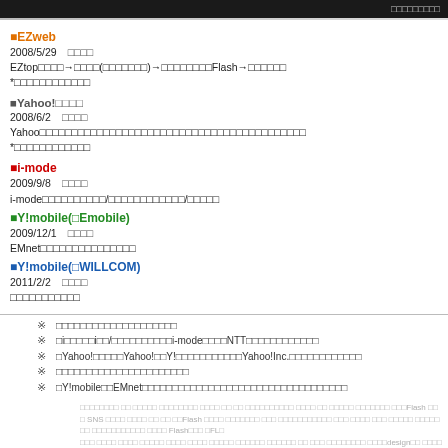■EZweb
2008/5/29　□□□□
EZtop□□□□→□□□□(□□□□□□□)→□□□□□□□□Flash→□□□□□□
*□□□□□□□□□□□□
■Yahoo!□□□□
2008/6/2　□□□□
Yahoo□□□□□□□□□□□□□□□□□□□□□□□□□□□□□□□□□□□□□□□□□□
*□□□□□□□□□□□□
■i-mode
2009/9/8　□□□□
i-mode□□□□□□□□□□/□□□□□□□□□□□□/□□□□□
■Y!mobile(□Emobile)
2009/12/1　□□□□
EMnet□□□□□□□□□□□□□□□
■Y!mobile(□WILLCOM)
2011/2/2　□□□□
□□□□□□□□□□□
※　□□□□□□□□□□□□□□□□□□□□
※　□i□□□□□i□□/□□□□□□□□□□i-mode□□□□NTT□□□□□□□□□□□□
※　□Yahoo!□□□□□Yahoo!□□Y!□□□□□□□□□□□Yahoo!Inc.□□□□□□□□□□□□
※　□□□□□□□□□□□□□□□□□□□□□□
※　□Y!mobile□□EMnet□□□□□□□□□□□□□□□□□□□□□□□□□□□□□□□□□□
□□□□□□□□ □□ □□□□□ □□□□□□□□ □□□□ □□ □□ □□□□□□□□□□ □□□□ □□ □□□□□ □□□□□□□ □□□Flash □□□ SNS □□□□ □□□□ □□ □□ □□Flash □□□□ □□□□□□□ □□□ □□□□□□□□□□□ □□□ □□□□ □□□ □□□□□ □□□□□□□ □□□□□□□□□□□ □□□□ Flash□□□ □FL□ □□□ □□□□ □□□□ □□□□□ □□□□ □□□□ □□□□□ □□□□□□ □□□□□□ □□ □□□ □□□□□□□□ □□□□design□□ □□□□ PRO□ □□□□□□□□□ □□□□ □□□□□□ QR□□□ □□□□□□□□□ □□□□□□□□□ □□□ □□□□ □□□□□□ □□□□ □□□□□□ □□□□□ □□□ □□×□□□ Flash□□